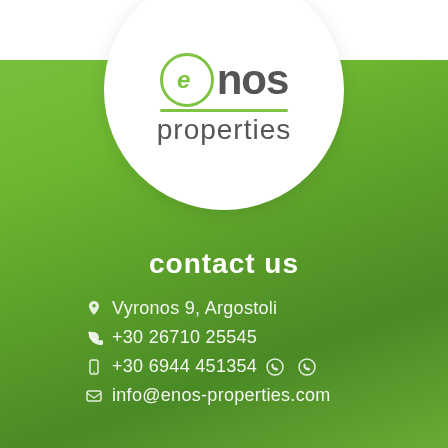[Figure (logo): Enos Properties logo: circular green 'e' icon followed by 'nos' in dark gray bold, with green underline, and 'properties' in lighter gray below, all inside a white circle on green gradient background.]
contact us
Vyronos 9, Argostoli
+30 26710 25545
+30 6944 451354
info@enos-properties.com